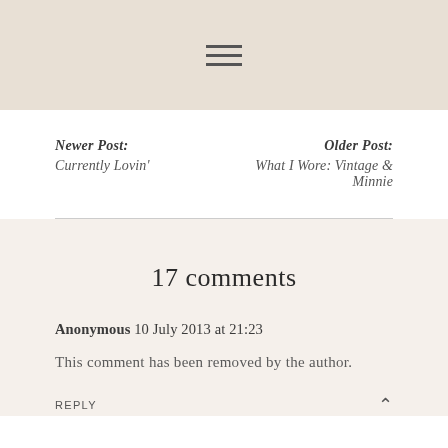Newer Post: Currently Lovin'
Older Post: What I Wore: Vintage & Minnie
17 comments
Anonymous 10 July 2013 at 21:23
This comment has been removed by the author.
REPLY